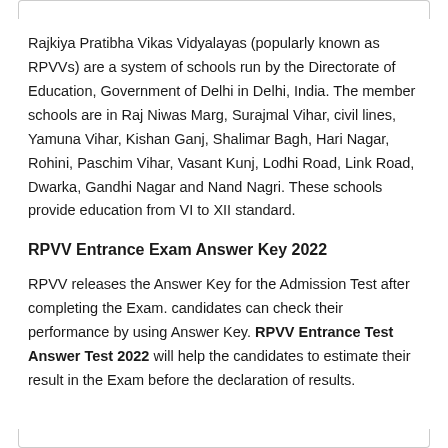Rajkiya Pratibha Vikas Vidyalayas (popularly known as RPVVs) are a system of schools run by the Directorate of Education, Government of Delhi in Delhi, India. The member schools are in Raj Niwas Marg, Surajmal Vihar, civil lines, Yamuna Vihar, Kishan Ganj, Shalimar Bagh, Hari Nagar, Rohini, Paschim Vihar, Vasant Kunj, Lodhi Road, Link Road, Dwarka, Gandhi Nagar and Nand Nagri. These schools provide education from VI to XII standard.
RPVV Entrance Exam Answer Key 2022
RPVV releases the Answer Key for the Admission Test after completing the Exam. candidates can check their performance by using Answer Key. RPVV Entrance Test Answer Test 2022 will help the candidates to estimate their result in the Exam before the declaration of results.